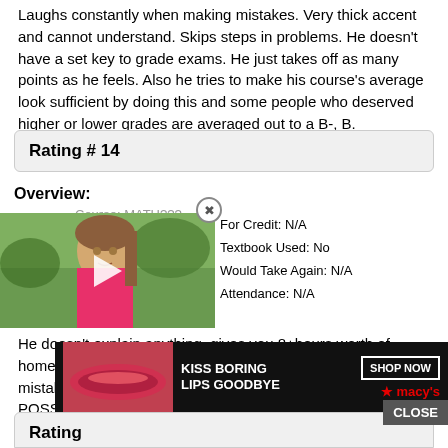Laughs constantly when making mistakes. Very thick accent and cannot understand. Skips steps in problems. He doesn't have a set key to grade exams. He just takes off as many points as he feels. Also he tries to make his course's average look sufficient by doing this and some people who deserved higher or lower grades are averaged out to a B-, B.
Rating # 14
Overview:
[Figure (screenshot): Video thumbnail of a young girl in a pink shirt outdoors, with a play button overlay. A close/X button appears in the upper right of the thumbnail area.]
Course: MATH???   For Credit: N/A
Textbook Used: No
Would Take Again: N/A
Attendance: N/A
He doesn't explain anything, gives you 8+hours worth of homework per week, he laughs at the class, makes TONS of mistakes, and skips steps when doing examples. AVOID IF POSSIBLE.
[Figure (screenshot): Advertisement banner: KISS BORING LIPS GOODBYE with SHOP NOW button and Macy's star logo]
Rating